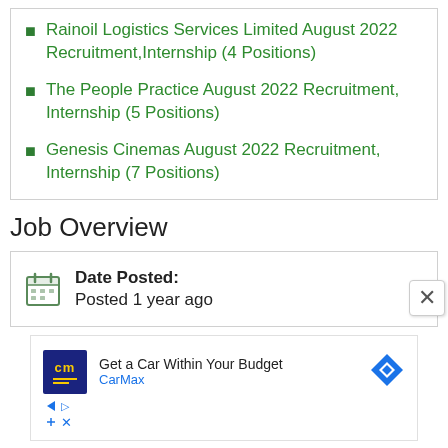Rainoil Logistics Services Limited August 2022 Recruitment, Internship (4 Positions)
The People Practice August 2022 Recruitment, Internship (5 Positions)
Genesis Cinemas August 2022 Recruitment, Internship (7 Positions)
Job Overview
Date Posted: Posted 1 year ago
[Figure (other): Advertisement for CarMax: Get a Car Within Your Budget]